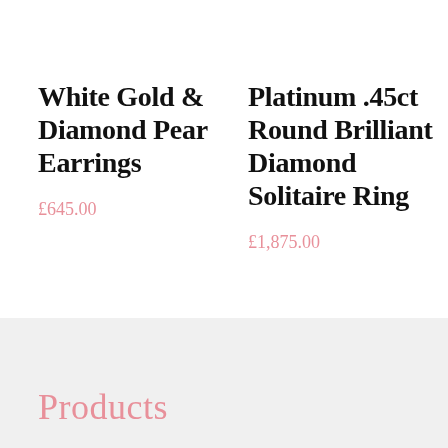White Gold & Diamond Pear Earrings
£645.00
Platinum .45ct Round Brilliant Diamond Solitaire Ring
£1,875.00
Products